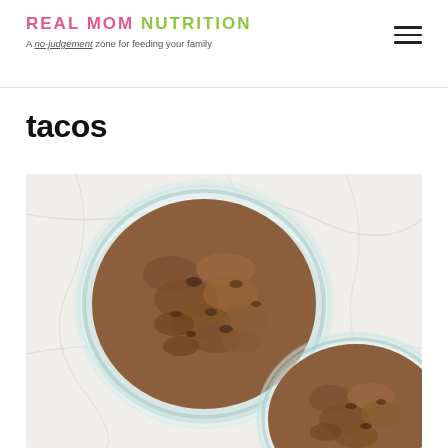REAL MOM NUTRITION — A no-judgement zone for feeding your family
tacos
[Figure (photo): Overhead view of two glass bowls containing cooked seasoned ground beef (taco meat) on a white marble surface. One bowl is fully visible in the upper portion, a second bowl is partially visible in the lower right.]